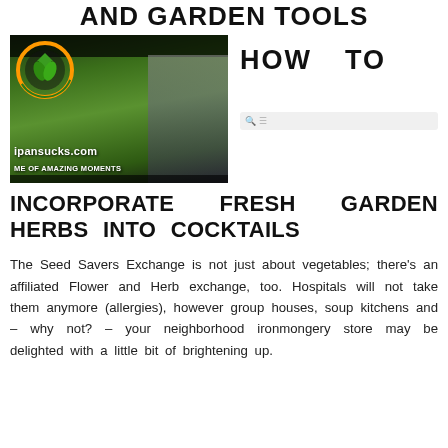AND GARDEN TOOLS
[Figure (photo): A young woman holding large fresh green vegetables/lettuce in a garden setting. An orange and green circular logo with a house and leaves is overlaid in the top left. Text overlay reads 'ipansucks.com' and 'ME OF AMAZING MOMENTS'.]
HOW TO
INCORPORATE FRESH GARDEN HERBS INTO COCKTAILS
The Seed Savers Exchange is not just about vegetables; there's an affiliated Flower and Herb exchange, too. Hospitals will not take them anymore (allergies), however group houses, soup kitchens and – why not? – your neighborhood ironmongery store may be delighted with a little bit of brightening up.